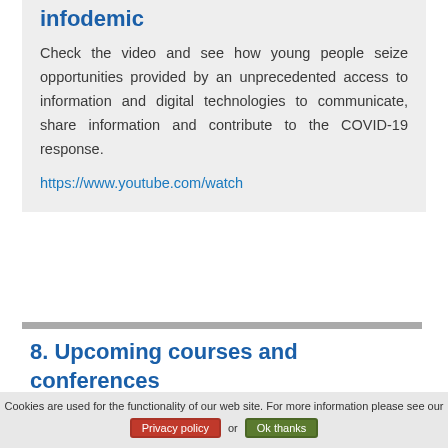infodemic
Check the video and see how young people seize opportunities provided by an unprecedented access to information and digital technologies to communicate, share information and contribute to the COVID-19 response.
https://www.youtube.com/watch
8. Upcoming courses and conferences
Farewell Symposium for Ingrid Felger and Hans-Peter Beck: Molecular Biology, Epidemiology
Cookies are used for the functionality of our web site. For more information please see our Privacy policy or Ok thanks